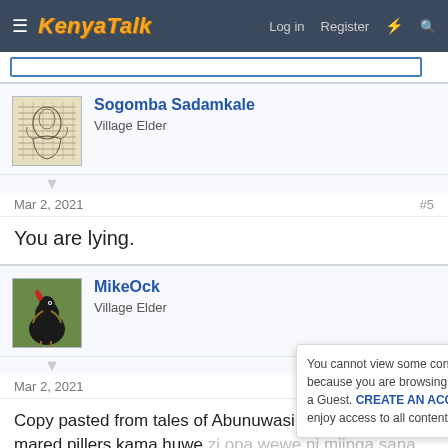KenyaTalk — Log in  Register
Sogomba Sadamkale
Village Elder
Mar 2, 2021   #5
You are lying.
MikeOck
Village Elder
Mar 2, 2021   #6
Copy pasted from tales of Abunuwasi. Hizi uwongo za mared pillers kama huwe zi ona wewe ni mjinga sana
ChifuMb... (Village Commissioner)
You cannot view some content because you are browsing this site as a Guest. CREATE AN ACCOUNT to enjoy access to all content.